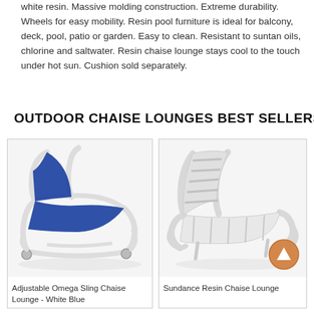white resin. Massive molding construction. Extreme durability. Wheels for easy mobility. Resin pool furniture is ideal for balcony, deck, pool, patio or garden. Easy to clean. Resistant to suntan oils, chlorine and saltwater. Resin chaise lounge stays cool to the touch under hot sun. Cushion sold separately.
OUTDOOR CHAISE LOUNGES BEST SELLERS
[Figure (photo): Adjustable Omega Sling Chaise Lounge - White Blue: white frame chaise lounge with blue sling fabric, reclining back]
Adjustable Omega Sling Chaise Lounge - White Blue
[Figure (photo): Sundance Resin Chaise Lounge: all-white resin chaise lounge with slatted back, scroll arms]
Sundance Resin Chaise Lounge